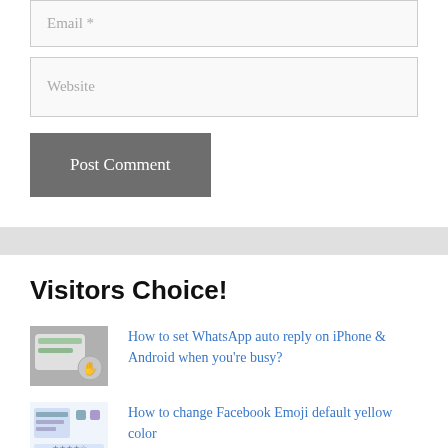Email *
Website
Post Comment
Visitors Choice!
How to set WhatsApp auto reply on iPhone & Android when you're busy?
How to change Facebook Emoji default yellow color